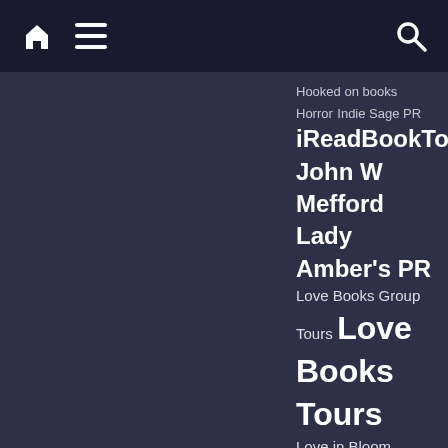Home | Menu | Search
Hooked on books
Horror  Indie Sage PR
iReadBookTours  John W Mefford
Lady Amber's PR
Love Books Group Tours  Love Books Tours
Love in Bloom
Love in Bloom series
Loving the Book  M.S. Parker
Magic of book Promotions
Melissa Foster
Monster Mash Countdown
NetGalley  NK